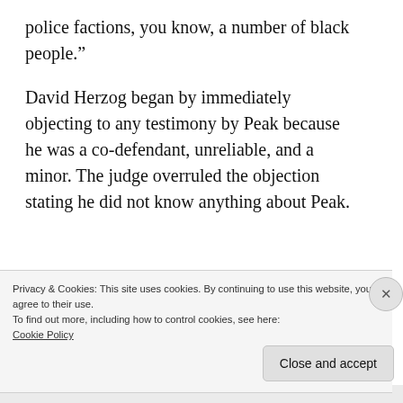police factions, you know, a number of black people."
David Herzog began by immediately objecting to any testimony by Peak because he was a co-defendant, unreliable, and a minor. The judge overruled the objection stating he did not know anything about Peak.
[Figure (other): Dark banner advertisement with a teal 'Learn More' button]
Privacy & Cookies: This site uses cookies. By continuing to use this website, you agree to their use.
To find out more, including how to control cookies, see here:
Cookie Policy
Close and accept